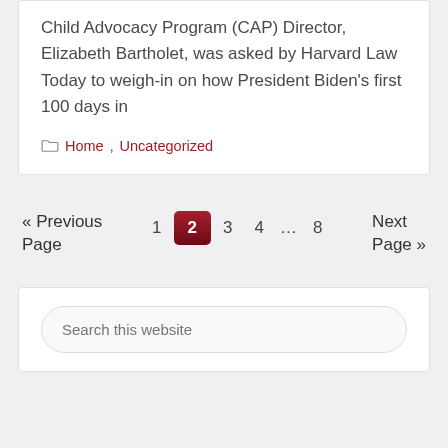Child Advocacy Program (CAP) Director, Elizabeth Bartholet, was asked by Harvard Law Today to weigh-in on how President Biden's first 100 days in
Home, Uncategorized
« Previous Page  1  2  3  4  …  8  Next Page »
Search this website